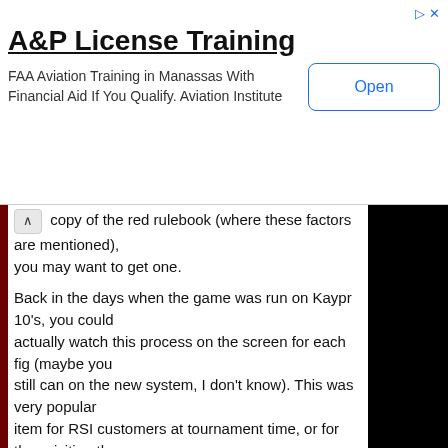[Figure (other): Advertisement banner for A&P License Training. Title: 'A&P License Training'. Body text: 'FAA Aviation Training in Manassas With Financial Aid If You Qualify. Aviation Institute'. Button: 'Open'. Ad indicator icon top right.]
copy of the red rulebook (where these factors are mentioned), you may want to get one.
Back in the days when the game was run on Kaypr 10's, you could actually watch this process on the screen for each fig (maybe you still can on the new system, I don't know). This was very popular item for RSI customers at tournament time, or for thos visiting the underground factory.
Each factor had a numerical value assigned, all value were summed. The resulting number ranged from a low of perhaps 2 to 120 or more. The computer then generated random number between 0